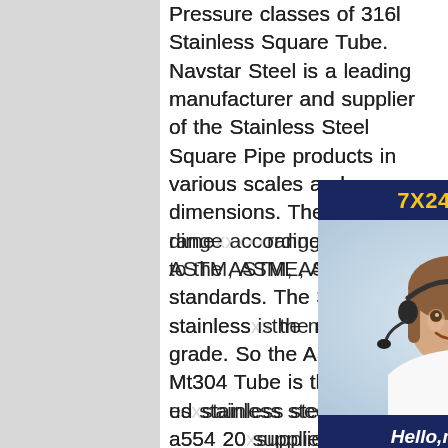Pressure classes of 316l Stainless Square Tube. Navstar Steel is a leading manufacturer and supplier of the Stainless Steel Square Pipe products in various scales and dimensions. The dimensions range according to the ASTM, AS, API standards. The 304 stainless is the most used grade. So the ASTM Grade Mt304 Tube is the most used stainless steel pipe astm a554 20 supplier What should carbon content be for ASTM A554?What should carbon content be for ASTM A554?For A554 small diameter or thin walls, or both, where many drawing passes are required a carbon content of 0.040% maximum is necessary in grades MT-304L and MT-316L.ASTM A554 Stainless Steel Pipe, A554 Round Tube, Sa 554 stainless steel
[Figure (other): Advertisement banner for a 7X24 Online customer service chat featuring a woman with a headset, a greeting 'Hello, may I help you?' and a 'Get Latest Price' button on a dark navy blue background.]